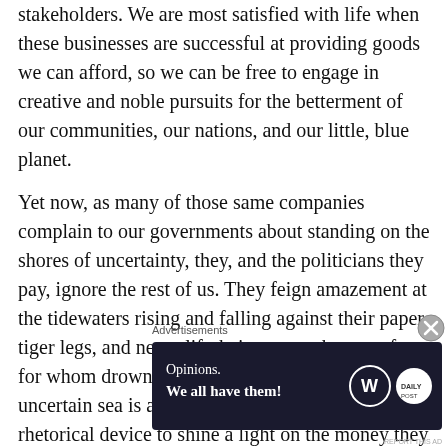stakeholders.  We are most satisfied with life when these businesses are successful at providing goods we can afford, so we can be free to engage in creative and noble pursuits for the betterment of our communities, our nations, and our little, blue planet.
Yet now, as many of those same companies complain to our governments about standing on the shores of uncertainty, they, and the politicians they pay, ignore the rest of us. They feign amazement at the tidewaters rising and falling against their paper tiger legs, and never lift their gaze at the rest of us for whom drowning in the turbulent waves of an uncertain sea is an everyday reality, and not just a rhetorical device to shine a light on the money they
Advertisements
[Figure (other): Advertisement banner with dark navy background reading 'Opinions. We all have them!' with WordPress logo and Daily Post logo on right side.]